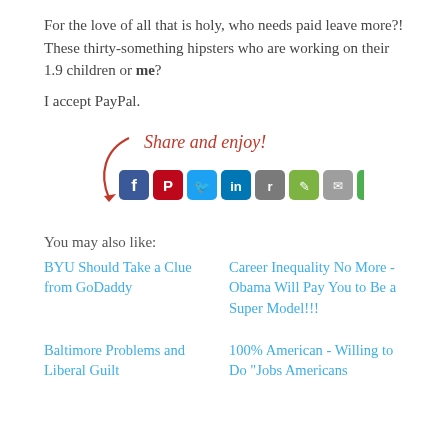For the love of all that is holy, who needs paid leave more?! These thirty-something hipsters who are working on their 1.9 children or me?
I accept PayPal.
[Figure (infographic): Share and enjoy! text in red handwriting with a red arrow pointing down to a row of social media icon buttons: Facebook, Pinterest, Twitter, LinkedIn, Reddit, Evernote, Email, More Options]
You may also like:
BYU Should Take a Clue from GoDaddy
Career Inequality No More - Obama Will Pay You to Be a Super Model!!!
Baltimore Problems and Liberal Guilt
100% American - Willing to Do "Jobs Americans